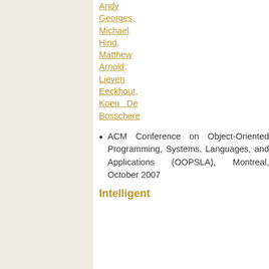Andy Georges, Michael Hind, Matthew Arnold, Lieven Eeckhout, Koen De Bosschere
ACM Conference on Object-Oriented Programming, Systems, Languages, and Applications (OOPSLA), Montreal, October 2007
Intelligent